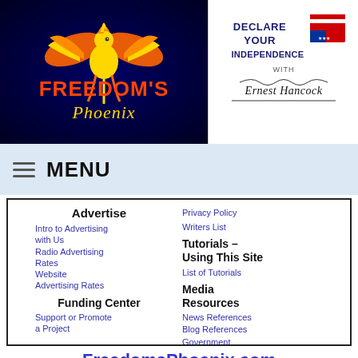[Figure (logo): Freedom's Phoenix logo with golden phoenix bird on dark blue background]
[Figure (logo): Declare Your Independence with Ernest Hancock logo on white background]
MENU
Advertise
Intro to Advertising with Us
Radio Advertising Rates
Website Advertising Rates
Funding Center
Support or Promote a Project
Privacy Policy
Writers List
Tutorials – Using This Site
List of Tutorials
Media Resources
News References
Blog References
Government References
FreedomsPhoenix.com